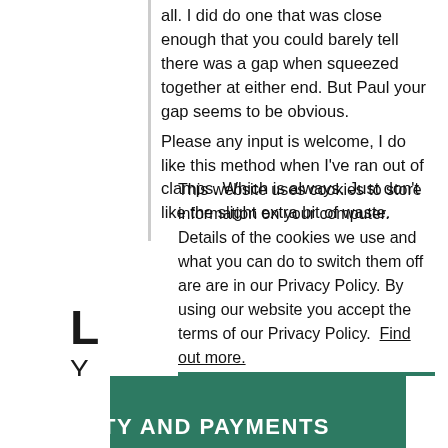all. I did do one that was close enough that you could barely tell there was a gap when squeezed together at either end. But Paul your gap seems to be obvious.
Please any input is welcome, I do like this method when I've ran out of clamps. Which is always. Just don't like the slight extra bit of waste.
This website uses cookies to store information on your computer. Details of the cookies we use and what you can do to switch them off are are in our Privacy Policy. By using our website you accept the terms of our Privacy Policy. Find out more.
Okay
SECURITY AND PAYMENTS